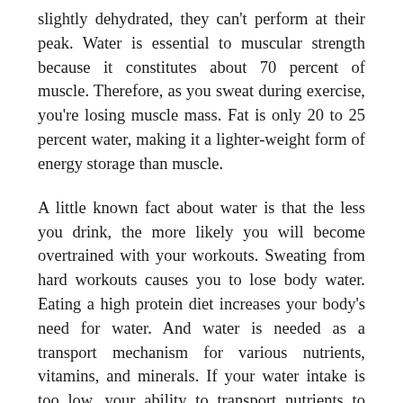slightly dehydrated, they can't perform at their peak. Water is essential to muscular strength because it constitutes about 70 percent of muscle. Therefore, as you sweat during exercise, you're losing muscle mass. Fat is only 20 to 25 percent water, making it a lighter-weight form of energy storage than muscle.
A little known fact about water is that the less you drink, the more likely you will become overtrained with your workouts. Sweating from hard workouts causes you to lose body water. Eating a high protein diet increases your body's need for water. And water is needed as a transport mechanism for various nutrients, vitamins, and minerals. If your water intake is too low, your ability to transport nutrients to your muscles becomes compromised, you'll lose muscle fullness, and toxins will build up in the body.
How do you know if you're hydrated? Your urine should be